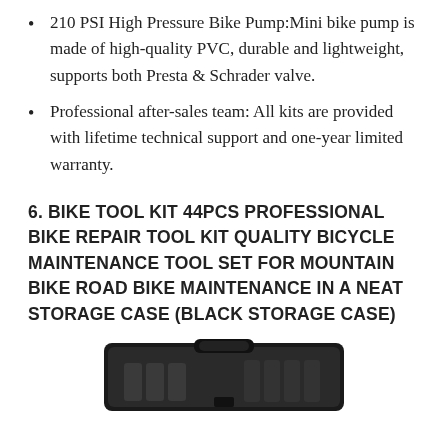210 PSI High Pressure Bike Pump:Mini bike pump is made of high-quality PVC, durable and lightweight, supports both Presta & Schrader valve.
Professional after-sales team: All kits are provided with lifetime technical support and one-year limited warranty.
6. BIKE TOOL KIT 44PCS PROFESSIONAL BIKE REPAIR TOOL KIT QUALITY BICYCLE MAINTENANCE TOOL SET FOR MOUNTAIN BIKE ROAD BIKE MAINTENANCE IN A NEAT STORAGE CASE (BLACK STORAGE CASE)
[Figure (photo): Partial image of a black bike tool kit storage case containing various tools]